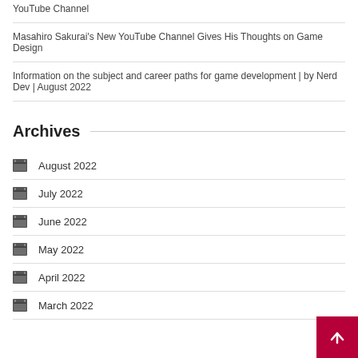YouTube Channel
Masahiro Sakurai's New YouTube Channel Gives His Thoughts on Game Design
Information on the subject and career paths for game development | by Nerd Dev | August 2022
Archives
August 2022
July 2022
June 2022
May 2022
April 2022
March 2022